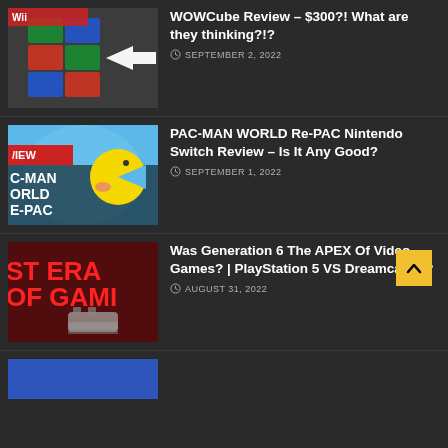[Figure (screenshot): Thumbnail for WOWCube review article showing a folding device with screens]
WOWCube Review – $300?! What are they thinking?!?
SEPTEMBER 2, 2022
[Figure (screenshot): Thumbnail for PAC-MAN WORLD Re-PAC Nintendo Switch Review showing Pac-Man character with REVIEW label]
PAC-MAN WORLD Re-PAC Nintendo Switch Review – Is It Any Good?
SEPTEMBER 1, 2022
[Figure (screenshot): Thumbnail for Generation 6 video games article showing red text 'ST ERA OF GAMI' with gaming consoles]
Was Generation 6 The APEX Of Video Games? | PlayStation 5 VS Dreamcast...?
AUGUST 31, 2022
[Figure (screenshot): Partial thumbnail visible at bottom of page, blue background]